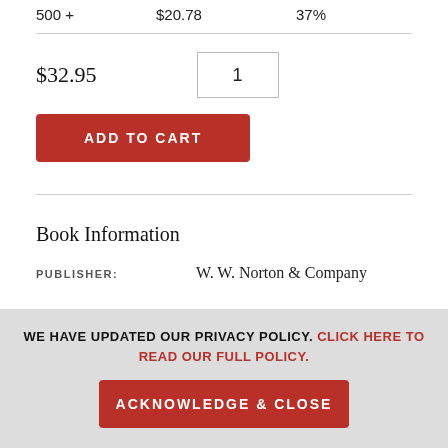500 +   $20.78   37%
$32.95
1
[Figure (other): ADD TO CART button (red rounded rectangle with white uppercase text)]
Book Information
PUBLISHER:   W. W. Norton & Company
WE HAVE UPDATED OUR PRIVACY POLICY. CLICK HERE TO READ OUR FULL POLICY.
[Figure (other): ACKNOWLEDGE & CLOSE button (red rounded rectangle with white uppercase text)]